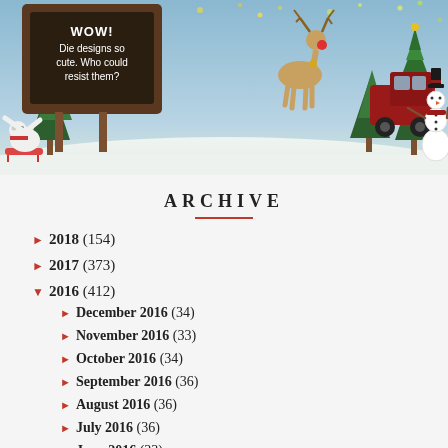[Figure (illustration): Christmas holiday banner illustration with polar bear on sled, chalkboard sign reading 'WOW! Die designs so cute. Who could resist them?', reindeer, red truck carrying Christmas tree, snowman with top hat, pine trees, snow ground, and glittery decorative elements.]
ARCHIVE
▶ 2018 (154)
▶ 2017 (373)
▼ 2016 (412)
▶ December 2016 (34)
▶ November 2016 (33)
▶ October 2016 (34)
▶ September 2016 (36)
▶ August 2016 (36)
▶ July 2016 (36)
▶ June 2016 (33)
▶ May 2016 (35)
▶ April 2016 (33)